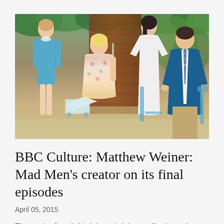[Figure (photo): Scene from Mad Men TV show featuring four characters in 1960s period attire seated and standing in an outdoor garden setting with brick wall and foliage in background.]
BBC Culture: Matthew Weiner: Mad Men's creator on its final episodes
April 05, 2015
The creative force behind the period drama talks about where his characters are as his show begins its final episodes. "We left